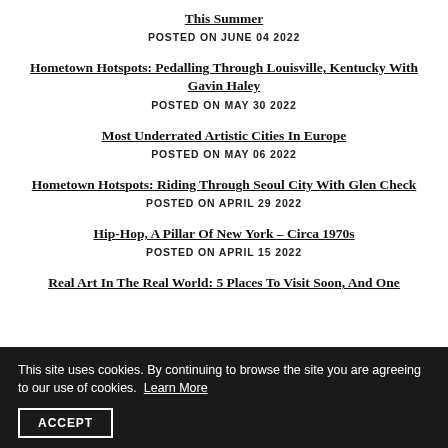This Summer
POSTED ON JUNE 04 2022
Hometown Hotspots: Pedalling Through Louisville, Kentucky With Gavin Haley
POSTED ON MAY 30 2022
Most Underrated Artistic Cities In Europe
POSTED ON MAY 06 2022
Hometown Hotspots: Riding Through Seoul City With Glen Check
POSTED ON APRIL 29 2022
Hip-Hop, A Pillar Of New York – Circa 1970s
POSTED ON APRIL 15 2022
Real Art In The Real World: 5 Places To Visit Soon, And One
This site uses cookies. By continuing to browse the site you are agreeing to our use of cookies. Learn More
ACCEPT